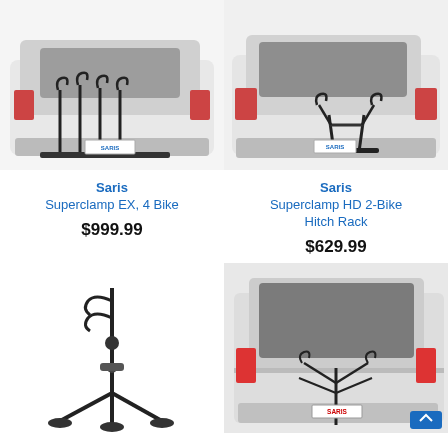[Figure (photo): Saris Superclamp EX 4-bike hitch rack mounted on white Toyota 4Runner, rear view]
[Figure (photo): Saris Superclamp HD 2-Bike Hitch Rack mounted on white Toyota 4Runner, rear view]
Saris
Superclamp EX, 4 Bike
$999.99
Saris
Superclamp HD 2-Bike Hitch Rack
$629.99
[Figure (photo): Saris bike rack standalone product shot, black hitch rack, no vehicle]
[Figure (photo): Saris bike rack mounted on white SUV, rear view, with SARIS license plate]